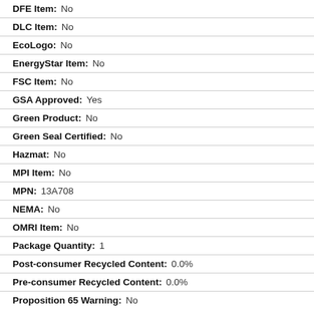DFE Item: No
DLC Item: No
EcoLogo: No
EnergyStar Item: No
FSC Item: No
GSA Approved: Yes
Green Product: No
Green Seal Certified: No
Hazmat: No
MPI Item: No
MPN: 13A708
NEMA: No
OMRI Item: No
Package Quantity: 1
Post-consumer Recycled Content: 0.0%
Pre-consumer Recycled Content: 0.0%
Proposition 65 Warning: No